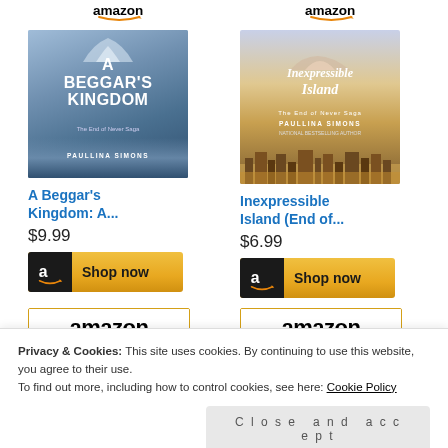[Figure (screenshot): Amazon product listing for 'A Beggar's Kingdom: A...' priced at $9.99 with Shop now button]
[Figure (screenshot): Amazon product listing for 'Inexpressible Island (End of...' priced at $6.99 with Shop now button]
[Figure (screenshot): Amazon store card with Ruth Ware book cover (partial)]
[Figure (screenshot): Amazon store card with face book cover (partial)]
Privacy & Cookies: This site uses cookies. By continuing to use this website, you agree to their use.
To find out more, including how to control cookies, see here: Cookie Policy
Close and accept